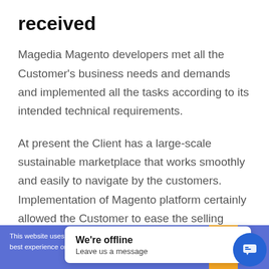received
Magedia Magento developers met all the Customer's business needs and demands and implemented all the tasks according to its intended technical requirements.
At present the Client has a large-scale sustainable marketplace that works smoothly and easily to navigate by the customers. Implementation of Magento platform certainly allowed the Customer to ease the selling
This website uses cooki... best experience on our w...
We're offline
Leave us a message